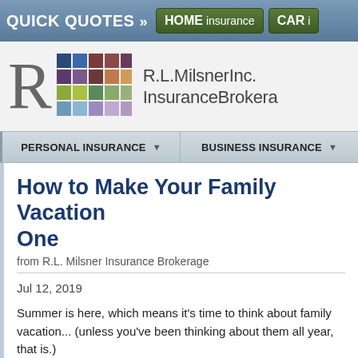QUICK QUOTES » | HOME insurance | CAR i...
[Figure (logo): R.L. Milsner Inc. Insurance Brokerage logo with large R letter and colorful grid mosaic]
PERSONAL INSURANCE ▼ | BUSINESS INSURANCE ▼
How to Make Your Family Vacation... One
from R.L. Milsner Insurance Brokerage
Jul 12, 2019
Summer is here, which means it's time to think about family vacati... been thinking about them all year, that is.)
The family part of family vacations, however, can make things a lit...